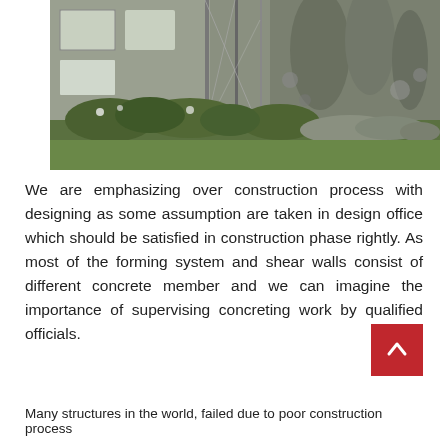[Figure (photo): Photograph of a building under construction or damaged, showing a structure with scaffolding-like elements, windows, and landscaping with green bushes and grass in the foreground.]
We are emphasizing over construction process with designing as some assumption are taken in design office which should be satisfied in construction phase rightly. As most of the forming system and shear walls consist of different concrete member and we can imagine the importance of supervising concreting work by qualified officials.
Many structures in the world, failed due to poor construction process